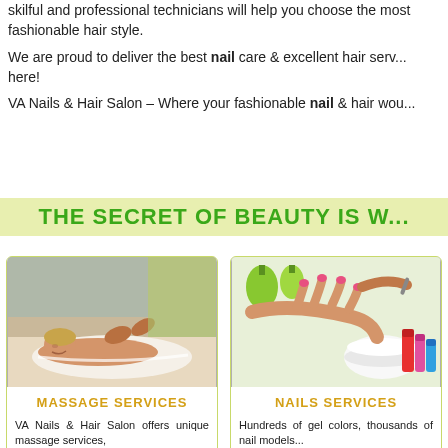skilful and professional technicians will help you choose the most fashionable hair style.
We are proud to deliver the best nail care & excellent hair services here!
VA Nails & Hair Salon – Where your fashionable nail & hair wou...
THE SECRET OF BEAUTY IS W...
[Figure (photo): Woman receiving a back massage from a therapist]
MASSAGE SERVICES
VA Nails & Hair Salon offers unique massage services,
[Figure (photo): Nail technician applying gel to client's nails with nail polish bottles in foreground]
NAILS SERVICES
Hundreds of gel colors, thousands of nail models available for you...